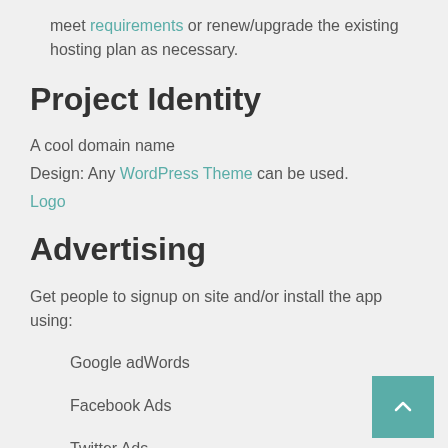meet requirements or renew/upgrade the existing hosting plan as necessary.
Project Identity
A cool domain name
Design: Any WordPress Theme can be used.
Logo
Advertising
Get people to signup on site and/or install the app using:
Google adWords
Facebook Ads
Twitter Ads
Fiverr
Estimated Project Budget